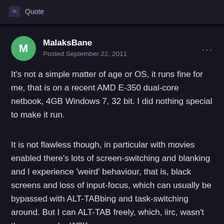Quote
MalaksBane
Posted September 22, 2011
It's not a simple matter of age or OS, it runs fine for me, that is on a recent AMD E-350 dual-core netbook, 4GB Windows 7, 32 bit. I did nothing special to make it run.
It is not flawless though, in particular with movies enabled there's lots of screen-switching and blanking and I experience 'weird' behaviour, that is, black screens and loss of input-focus, which can usually be bypassed with ALT-TABbing and task-switching around. But I can ALT-TAB freely, which, iirc, wasn't the case under W2K -